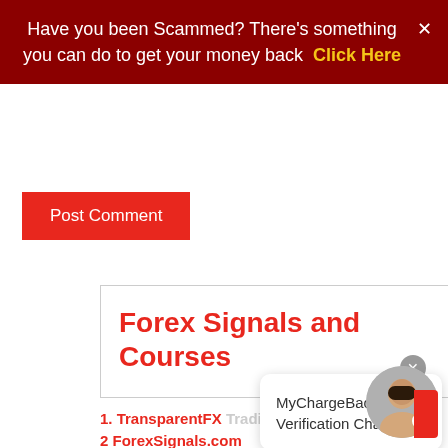Have you been Scammed? There's something you can do to get your money back  Click Here
Post Comment
Forex Signals and Courses
1. TransparentFX Trading.com
MyChargeBack Verification Chat
2 ForexSignals.com